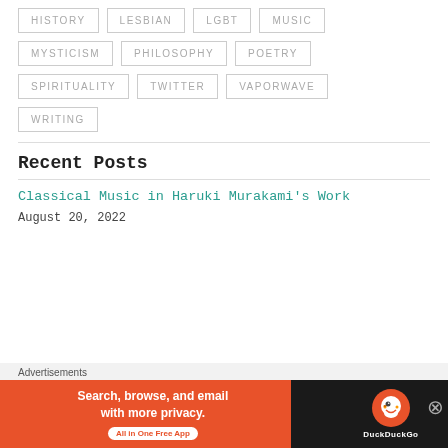HISTORY
LESBIAN
LGBT
MUSIC
MYSTICISM
PHILOSOPHY
POETRY
SPIRITUALITY
TWITTER
VAPORWAVE
WRITING
Recent Posts
Classical Music in Haruki Murakami's Work
August 20, 2022
[Figure (screenshot): DuckDuckGo advertisement banner: 'Search, browse, and email with more privacy. All in One Free App' with DuckDuckGo logo on dark background]
Advertisements